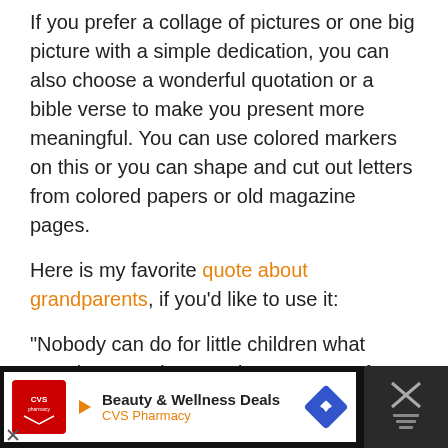If you prefer a collage of pictures or one big picture with a simple dedication, you can also choose a wonderful quotation or a bible verse to make you present more meaningful. You can use colored markers on this or you can shape and cut out letters from colored papers or old magazine pages.
Here is my favorite quote about grandparents, if you'd like to use it:
“Nobody can do for little children what grandparents do. Grandparents sort of sprinkle stardust over the lives of little children.”  -Alex Haley
Decorate your gift
[Figure (other): Advertisement banner for CVS Pharmacy Beauty & Wellness Deals with CVS logo, navigation arrow icon, and a close button with play icon on right]